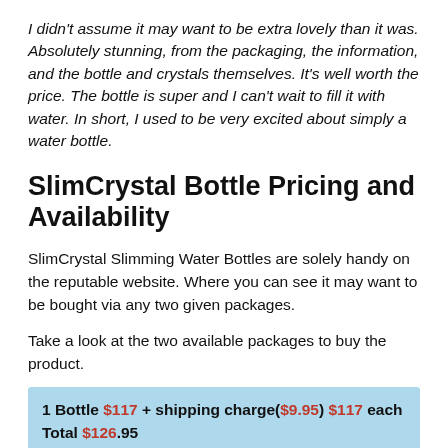I didn't assume it may want to be extra lovely than it was. Absolutely stunning, from the packaging, the information, and the bottle and crystals themselves. It's well worth the price. The bottle is super and I can't wait to fill it with water. In short, I used to be very excited about simply a water bottle.
SlimCrystal Bottle Pricing and Availability
SlimCrystal Slimming Water Bottles are solely handy on the reputable website. Where you can see it may want to be bought via any two given packages.
Take a look at the two available packages to buy the product.
1 Bottle $117 + shipping charge($9.95) $117 each Total $126.95
2 Bottle + Bonuses $97 each Total of $197 with FREE shipping